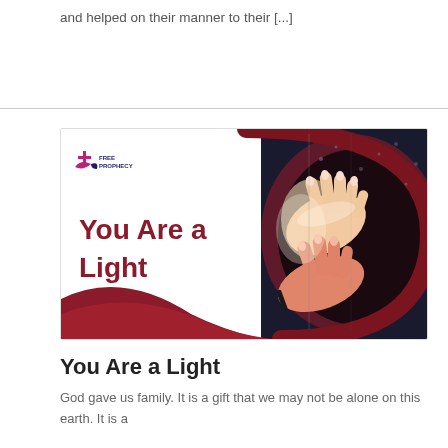and helped on their manner to their [...]
[Figure (illustration): Free Prophecy branded image with text 'You Are a Light' on the left and two hands pressed against a glowing window on the right, with a dark maroon circular design element]
You Are a Light
God gave us family. It is a gift that we may not be alone on this earth. It is a